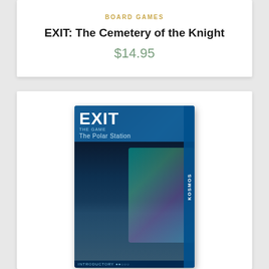BOARD GAMES
EXIT: The Cemetery of the Knight
$14.95
[Figure (photo): Product box image for EXIT: The Polar Station board game, showing a snowy polar station with aurora borealis on the cover, KOSMOS branding on the spine]
BOARD GAMES
Exit: The Polar Station